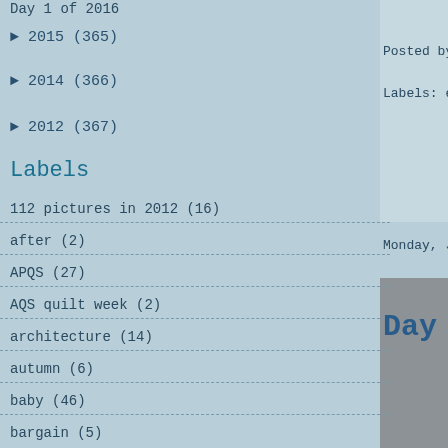Day 1 of 2016
► 2015 (365)
► 2014 (366)
► 2012 (367)
Labels
112 pictures in 2012 (16)
after (2)
APQS (27)
AQS quilt week (2)
architecture (14)
autumn (6)
baby (46)
bargain (5)
basket of three (1)
bathroom reno (8)
Posted by
Labels: e
Monday, Ja
Day